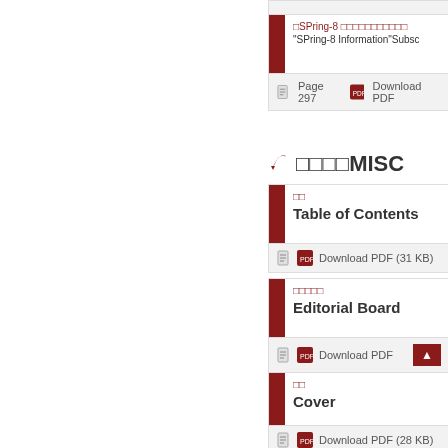□SPring-8 □□□□□□□□□□□ "SPring-8 Information"Subsc
Page 297  Download PDF
□□□□MISC
□□ Table of Contents
Download PDF (31 KB)
□□□□□ Editorial Board
Download PDF
□□ Cover
Download PDF (28 KB)